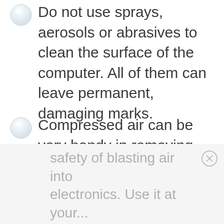Do not use sprays, aerosols or abrasives to clean the surface of the computer. All of them can leave permanent, damaging marks.
Compressed air can be very handy in removing bits of dirt and dust from tight spaces in a computer. However, there are mixed feelings as to the safety of blasting air into electronics. Use it at your...